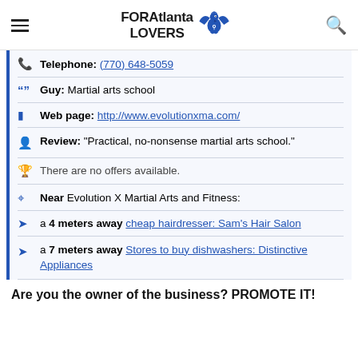FORAtlanta LOVERS
Telephone: (770) 648-5059
Guy: Martial arts school
Web page: http://www.evolutionxma.com/
Review: "Practical, no-nonsense martial arts school."
There are no offers available.
Near Evolution X Martial Arts and Fitness:
a 4 meters away cheap hairdresser: Sam's Hair Salon
a 7 meters away Stores to buy dishwashers: Distinctive Appliances
Are you the owner of the business? PROMOTE IT!